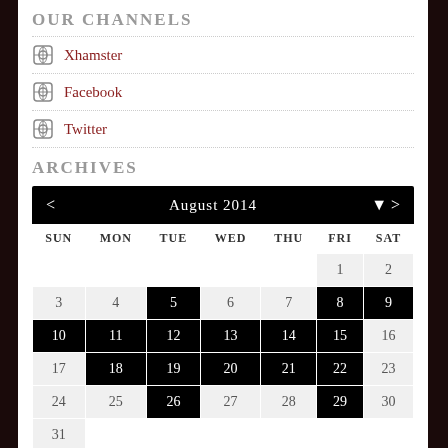OUR CHANNELS
Xhamster
Facebook
Twitter
ARCHIVES
[Figure (other): August 2014 calendar with navigation arrows. Days shown: 1-31. Black highlighted days: 5, 8, 9, 10, 11, 12, 13, 14, 15, 18, 19, 20, 21, 22, 26, 29.]
OUR TWITTER
Twitter widget placeholder